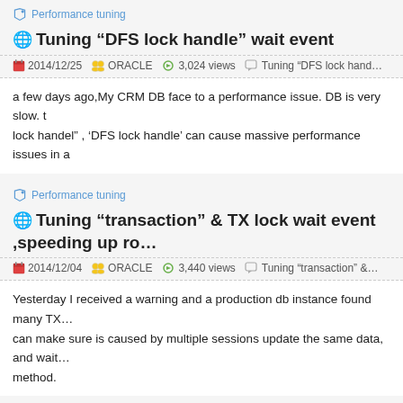Performance tuning
Tuning “DFS lock handle” wait event
2014/12/25   ORACLE   3,024 views   Tuning “DFS lock hand…
a few days ago,My CRM DB face to a performance issue. DB is very slow. t… lock handel” , ‘DFS lock handle’ can cause massive performance issues in a…
Performance tuning
Tuning “transaction” & TX lock wait event ,speeding up ro…
2014/12/04   ORACLE   3,440 views   Tuning “transaction” &…
Yesterday I received a warning and a production db instance found many TX… can make sure is caused by multiple sessions update the same data, and wait… method.
Performance tuning